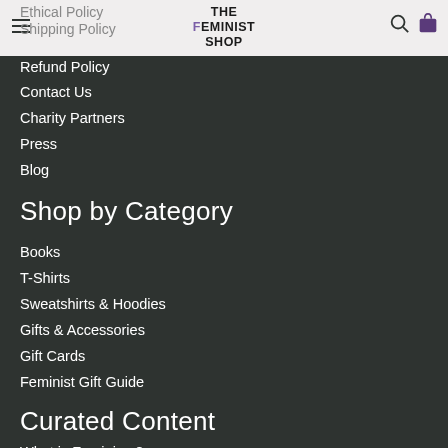THE FEMINIST SHOP — navigation header with logo, hamburger menu, search and cart icons
Ethical Policy
Shipping Policy
Refund Policy
Contact Us
Charity Partners
Press
Blog
Shop by Category
Books
T-Shirts
Sweatshirts & Hoodies
Gifts & Accessories
Gift Cards
Feminist Gift Guide
Curated Content
What is Feminism?